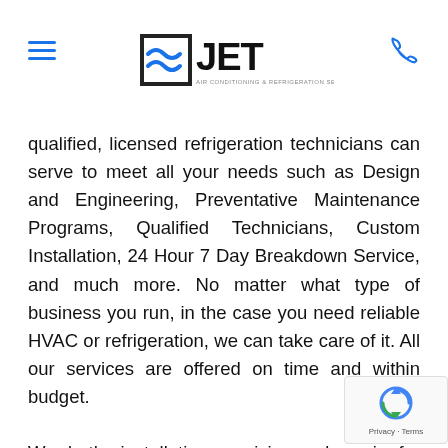JET Air Conditioning & Refrigeration Services - navigation header
qualified, licensed refrigeration technicians can serve to meet all your needs such as Design and Engineering, Preventative Maintenance Programs, Qualified Technicians, Custom Installation, 24 Hour 7 Day Breakdown Service, and much more. No matter what type of business you run, in the case you need reliable HVAC or refrigeration, we can take care of it. All our services are offered on time and within budget.

We do the installation, servicing and repairs for commercial refrigeration units in Maitland and the surrounding a... Jet Air Conditioning And Refrigeration Services is a tr... refrigeration mechanic based in Maitland, NSW. It has been...